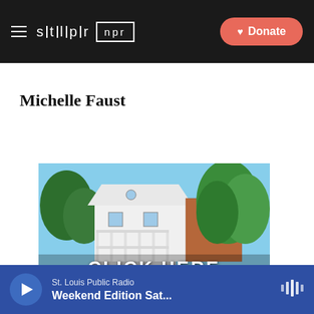stlpr | npr  Donate
Michelle Faust
[Figure (photo): Two-story white and brick house with porch, surrounded by green trees. Overlay text reads 'CLICK HERE'.]
St. Louis Public Radio  Weekend Edition Sat...